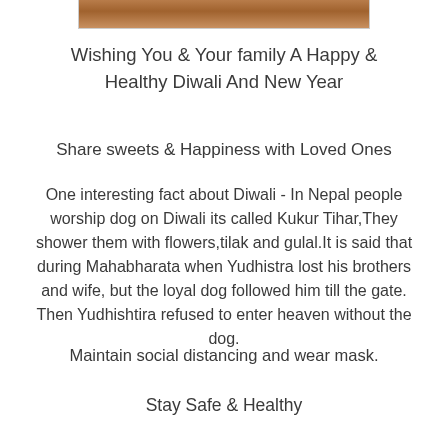[Figure (photo): Partial bottom edge of a photograph showing warm brown tones, cropped at top of page]
Wishing You & Your family A Happy & Healthy Diwali And New Year
Share sweets & Happiness with Loved Ones
One interesting fact about Diwali - In Nepal people worship dog on Diwali its called Kukur Tihar,They shower them with flowers,tilak and gulal.It is said that during Mahabharata when Yudhistra lost his brothers and wife, but the loyal dog followed him till the gate. Then Yudhishtira refused to enter heaven without the dog.
Maintain social distancing and wear mask.
Stay Safe & Healthy